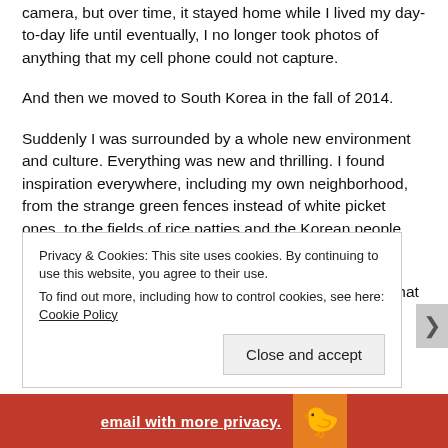camera, but over time, it stayed home while I lived my day-to-day life until eventually, I no longer took photos of anything that my cell phone could not capture.
And then we moved to South Korea in the fall of 2014.
Suddenly I was surrounded by a whole new environment and culture. Everything was new and thrilling. I found inspiration everywhere, including my own neighborhood, from the strange green fences instead of white picket ones, to the fields of rice patties and the Korean people who worked them day in and day out.
While out for a walk one day, I came to the realization that it
Privacy & Cookies: This site uses cookies. By continuing to use this website, you agree to their use.
To find out more, including how to control cookies, see here: Cookie Policy
Close and accept
email with more privacy.